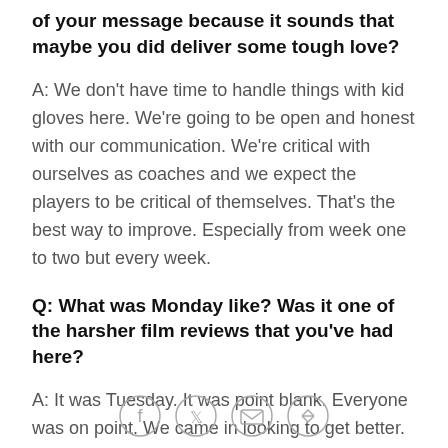of your message because it sounds that maybe you did deliver some tough love?
A: We don't have time to handle things with kid gloves here. We're going to be open and honest with our communication. We're critical with ourselves as coaches and we expect the players to be critical of themselves. That's the best way to improve. Especially from week one to two but every week.
Q: What was Monday like? Was it one of the harsher film reviews that you've had here?
A: It was Tuesday. It was point blank. Everyone was on point. We came in looking to get better. That was the point of the meeting. Every time you watch the film, whether it's practice or it's games, you want to be on